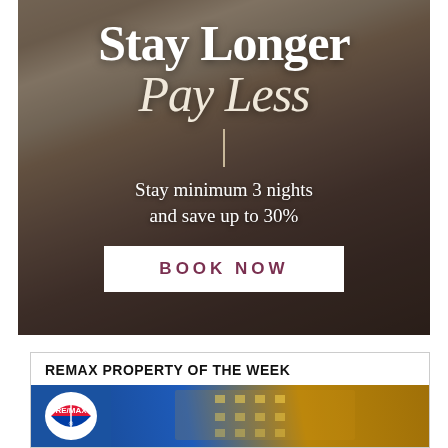[Figure (photo): Hotel room advertisement image with background showing a room with windows, bed with hat, overlaid with semi-transparent dark panel. White text reads 'Stay Longer Pay Less' with tagline 'Stay minimum 3 nights and save up to 30%' and a white 'BOOK NOW' button.]
Stay Longer Pay Less
Stay minimum 3 nights and save up to 30%
BOOK NOW
REMAX PROPERTY OF THE WEEK
[Figure (photo): RE/MAX logo on blue background alongside a nighttime photo of an illuminated building exterior.]